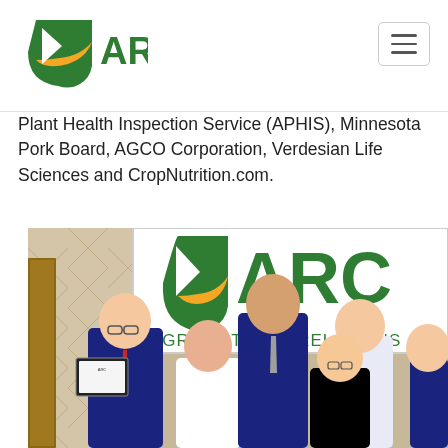ARC - Agricultural Relations Council
Plant Health Inspection Service (APHIS), Minnesota Pork Board, AGCO Corporation, Verdesian Life Sciences and CropNutrition.com.
[Figure (photo): Group of people posing in front of an ARC (Agricultural Relations Council) banner at an awards ceremony. A man on the left is holding a framed certificate/award. Several women and a tall man in the back center are visible, all dressed formally.]